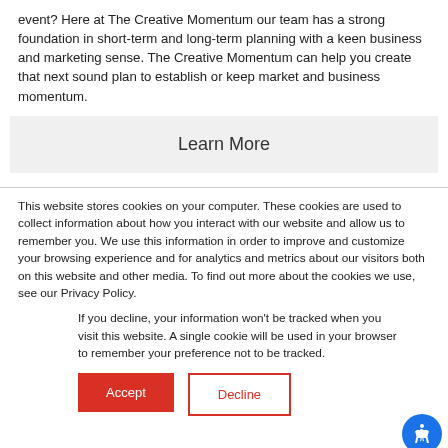event? Here at The Creative Momentum our team has a strong foundation in short-term and long-term planning with a keen business and marketing sense. The Creative Momentum can help you create that next sound plan to establish or keep market and business momentum.
Learn More
This website stores cookies on your computer. These cookies are used to collect information about how you interact with our website and allow us to remember you. We use this information in order to improve and customize your browsing experience and for analytics and metrics about our visitors both on this website and other media. To find out more about the cookies we use, see our Privacy Policy.
If you decline, your information won't be tracked when you visit this website. A single cookie will be used in your browser to remember your preference not to be tracked.
Accept
Decline